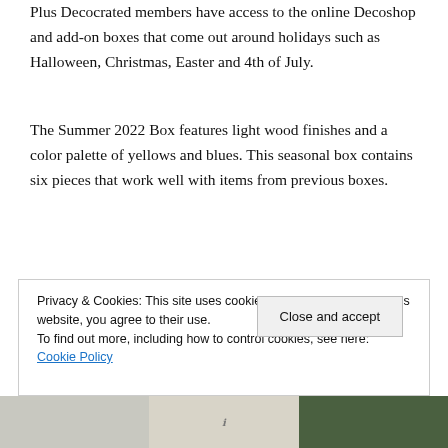Plus Decocrated members have access to the online Decoshop and add-on boxes that come out around holidays such as Halloween, Christmas, Easter and 4th of July.
The Summer 2022 Box features light wood finishes and a color palette of yellows and blues. This seasonal box contains six pieces that work well with items from previous boxes.
I enjoyed shifting from spring to summer, with a few minor changes.
Privacy & Cookies: This site uses cookies. By continuing to use this website, you agree to their use.
To find out more, including how to control cookies, see here: Cookie Policy
[Figure (photo): Bottom strip showing partial photos: light-colored section on left, cursive text in center, green foliage on right]